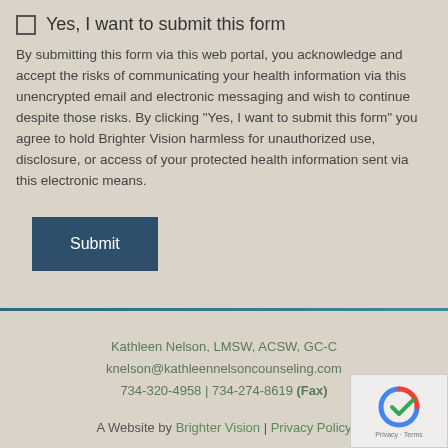Yes, I want to submit this form
By submitting this form via this web portal, you acknowledge and accept the risks of communicating your health information via this unencrypted email and electronic messaging and wish to continue despite those risks. By clicking "Yes, I want to submit this form" you agree to hold Brighter Vision harmless for unauthorized use, disclosure, or access of your protected health information sent via this electronic means.
Submit
Kathleen Nelson, LMSW, ACSW, GC-C
knelson@kathleennelsoncounseling.com
734-320-4958 | 734-274-8619 (Fax)
A Website by Brighter Vision | Privacy Policy